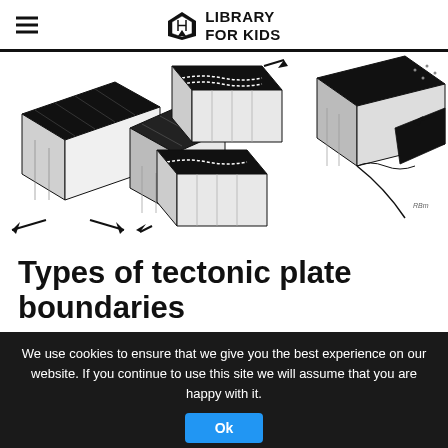LIBRARY FOR KIDS
[Figure (illustration): Three black-and-white illustrations of tectonic plate boundary types: divergent (arrows pointing apart), transform (arrows showing sliding), and convergent (arrow pointing inward with subduction).]
Types of tectonic plate boundaries
We use cookies to ensure that we give you the best experience on our website. If you continue to use this site we will assume that you are happy with it.
Ok